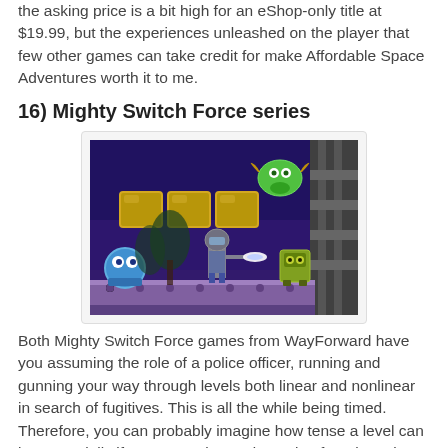the asking price is a bit high for an eShop-only title at $19.99, but the experiences unleashed on the player that few other games can take credit for make Affordable Space Adventures worth it to me.
16) Mighty Switch Force series
[Figure (screenshot): Screenshot from Mighty Switch Force video game showing a side-scrolling platformer level with a blue character, a female protagonist running, a green creature flying, and a yellow-green enemy on a platform against a purple/blue background]
Both Mighty Switch Force games from WayForward have you assuming the role of a police officer, running and gunning your way through levels both linear and nonlinear in search of fugitives. This is all the while being timed. Therefore, you can probably imagine how tense a level can be, especially if you're running and gunning for a best time. The...